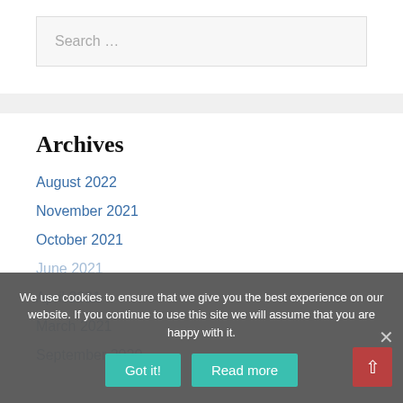Search …
Archives
August 2022
November 2021
October 2021
June 2021
April 2021
March 2021
September 2020
We use cookies to ensure that we give you the best experience on our website. If you continue to use this site we will assume that you are happy with it.